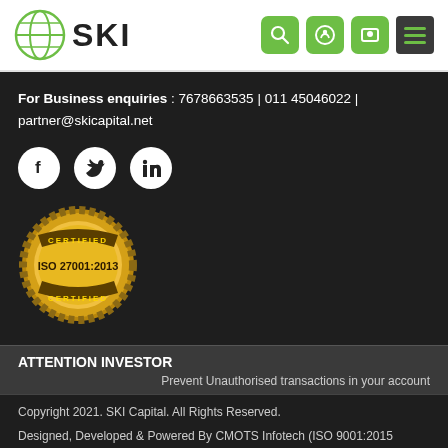[Figure (logo): SKI Capital logo with globe icon and text SKI]
[Figure (infographic): Navigation icons: search, login, user, menu (hamburger) in green rounded squares]
For Business enquiries : 7678663535 | 011 45046022 | partner@skicapital.net
[Figure (infographic): Social media icons: Facebook, Twitter, LinkedIn in white circles on dark background]
[Figure (infographic): ISO 27001:2013 Certified badge in gold]
ATTENTION INVESTOR
Prevent Unauthorised transactions in your account
Copyright 2021. SKI Capital. All Rights Reserved.
Designed, Developed & Powered By CMOTS Infotech (ISO 9001:2015 certified)